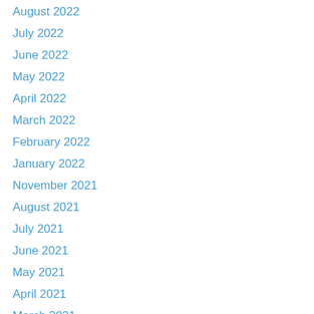August 2022
July 2022
June 2022
May 2022
April 2022
March 2022
February 2022
January 2022
November 2021
August 2021
July 2021
June 2021
May 2021
April 2021
March 2021
February 2021
January 2021
December 2020
November 2020
October 2020